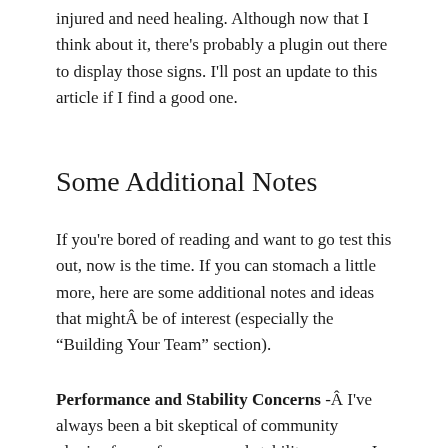injured and need healing. Although now that I think about it, there's probably a plugin out there to display those signs. I'll post an update to this article if I find a good one.
Some Additional Notes
If you're bored of reading and want to go test this out, now is the time. If you can stomach a little more, here are some additional notes and ideas that mightÂ be of interest (especially the “Building Your Team” section).
Performance and Stability Concerns -Â I've always been a bit skeptical of community plugins for performance and stability reasons. I also think they tend to clutter up your saves and put them at risk of corruption, however, since these are short disposable game sessions half of those concerns are eliminated. Â to be continued...